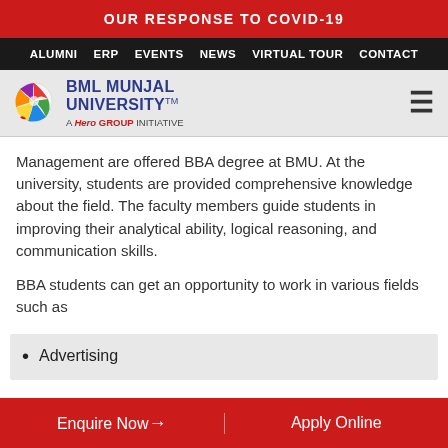OUR RESPONSE TO COVID-19
ALUMNI   ERP   EVENTS   NEWS   VIRTUAL TOUR   CONTACT
[Figure (logo): BML Munjal University logo with colorful tree icon, text: BML MUNJAL UNIVERSITY TM, A Hero Group Initiative]
Management are offered BBA degree at BMU. At the university, students are provided comprehensive knowledge about the field. The faculty members guide students in improving their analytical ability, logical reasoning, and communication skills.
BBA students can get an opportunity to work in various fields such as
Advertising
Enquire Now+   Apply Online